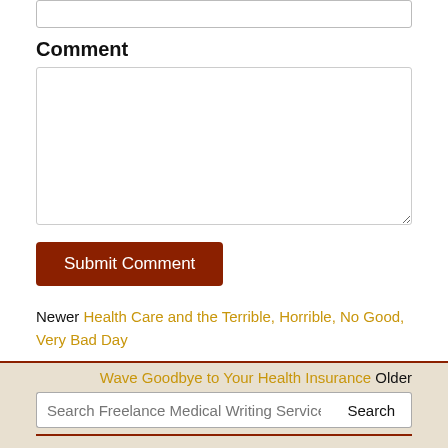Comment
[text input box]
Submit Comment
Newer Health Care and the Terrible, Horrible, No Good, Very Bad Day
Wave Goodbye to Your Health Insurance Older
Search Freelance Medical Writing Services by Debr [Search]
I was recently interviewed by the e-learning company Scitent about writing needs assessments. Read the interview here.
Listen to my interview with the Association of Ghostwriters about how to build a successful freelance business. You can also download the transcript.